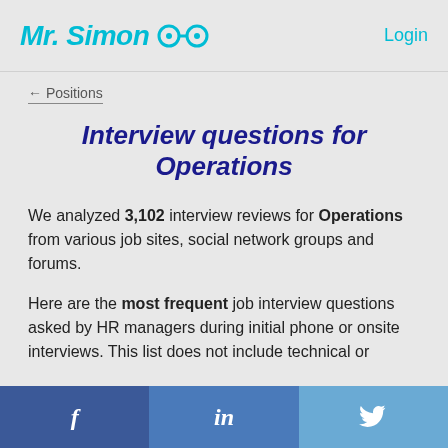Mr. Simon  Login
← Positions
Interview questions for Operations
We analyzed 3,102 interview reviews for Operations from various job sites, social network groups and forums.
Here are the most frequent job interview questions asked by HR managers during initial phone or onsite interviews. This list does not include technical or
f   in   🐦